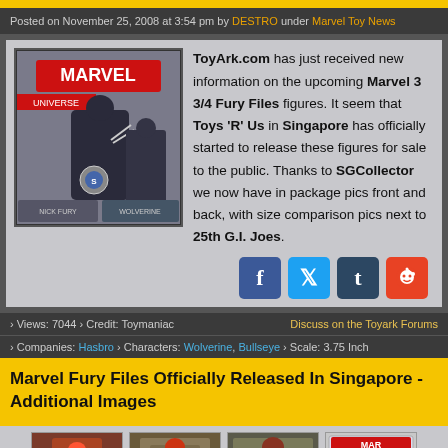Posted on November 25, 2008 at 3:54 pm by DESTRO under Marvel Toy News
[Figure (photo): Marvel Universe figures in packaging showing Wolverine and another figure]
ToyArk.com has just received new information on the upcoming Marvel 3 3/4 Fury Files figures. It seem that Toys 'R' Us in Singapore has officially started to release these figures for sale to the public. Thanks to SGCollector we now have in package pics front and back, with size comparison pics next to 25th G.I. Joes.
[Figure (infographic): Social media share buttons: Facebook, Twitter, Tumblr, Reddit]
› Views: 7044 › Credit: Toymaniac   Discuss on the Toyark Forums
› Companies: Hasbro › Characters: Wolverine, Bullseye › Scale: 3.75 Inch
Marvel Fury Files Officially Released In Singapore - Additional Images
[Figure (photo): Four thumbnail images of Marvel figures and packaging]